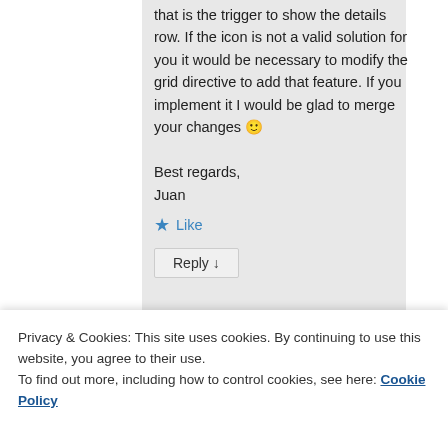that is the trigger to show the details row. If the icon is not a valid solution for you it would be necessary to modify the grid directive to add that feature. If you implement it I would be glad to merge your changes 🙂

Best regards,
Juan
★ Like
Reply ↓
Privacy & Cookies: This site uses cookies. By continuing to use this website, you agree to their use.
To find out more, including how to control cookies, see here: Cookie Policy
Close and accept